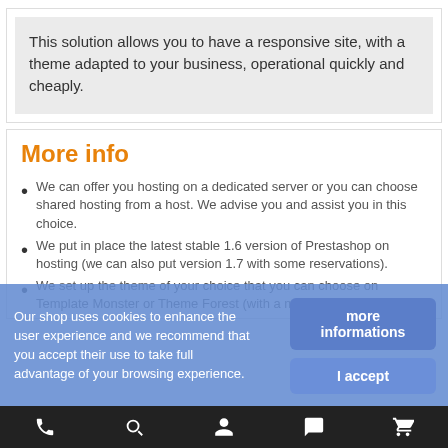This solution allows you to have a responsive site, with a theme adapted to your business, operational quickly and cheaply.
More info
We can offer you hosting on a dedicated server or you can choose shared hosting from a host. We advise you and assist you in this choice.
We put in place the latest stable 1.6 version of Prestashop on hosting (we can also put version 1.7 with some reservations).
We set up the theme of your choice that you can choose on Template Monster or Theme Forest (with a maximum cost of
Our shop uses cookies to enhance the user experience and we recommend that you accept their use to take full advantage of your browsing experience.